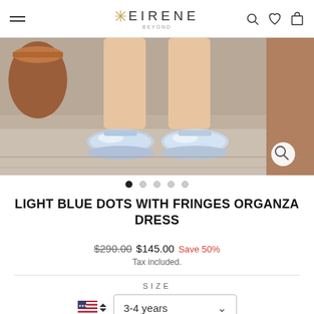EIRENE (logo) with hamburger menu, search, wishlist, and cart icons
[Figure (photo): Close-up photo of a child's feet wearing silver holographic ballet flats, standing on a concrete/stone surface, partial view of terracotta pots in background. Right side shows partial second image.]
LIGHT BLUE DOTS WITH FRINGES ORGANZA DRESS
$290.00  $145.00  Save 50%  Tax included.
SIZE
3-4 years